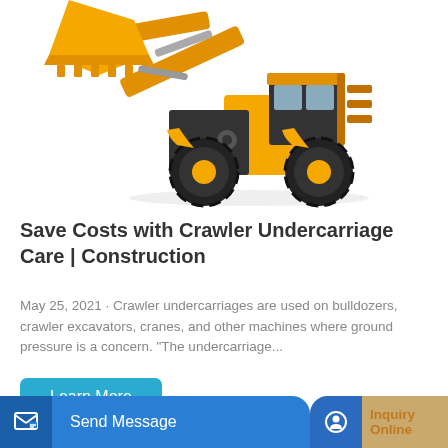[Figure (photo): Yellow and black wheel loader / front-end loader construction machine with raised bucket, photographed on white background]
Save Costs with Crawler Undercarriage Care | Construction
May 25, 2021 · Crawler undercarriages are used on bulldozers, crawler excavators, cranes, and other machines where ground pressure is a concern. "The undercarriage...
Learn More
Send Message
Inquiry Online